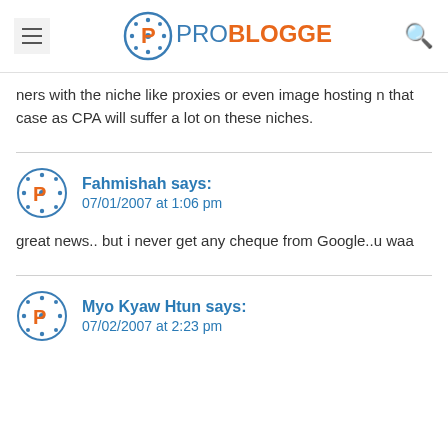ProBlogger
ners with the niche like proxies or even image hosting n that case as CPA will suffer a lot on these niches.
Fahmishah says: 07/01/2007 at 1:06 pm
great news.. but i never get any cheque from Google..u waa
Myo Kyaw Htun says: 07/02/2007 at 2:23 pm